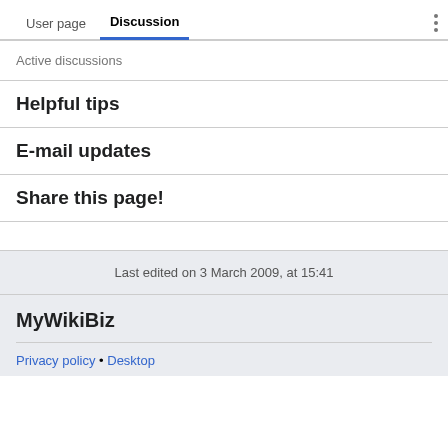User page  Discussion
Active discussions
Helpful tips
E-mail updates
Share this page!
Last edited on 3 March 2009, at 15:41
MyWikiBiz
Privacy policy • Desktop